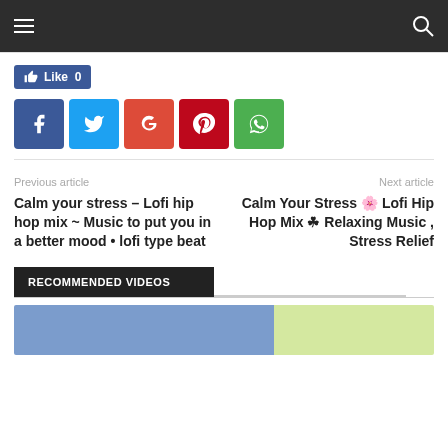Navigation bar with hamburger menu and search icon
[Figure (screenshot): Facebook Like button showing count 0]
[Figure (screenshot): Social share buttons: Facebook, Twitter, Google+, Pinterest, WhatsApp]
Previous article
Calm your stress – Lofi hip hop mix ~ Music to put you in a better mood • lofi type beat
Next article
Calm Your Stress 🌸 Lofi Hip Hop Mix ☘ Relaxing Music , Stress Relief
RECOMMENDED VIDEOS
[Figure (photo): Video thumbnail placeholder partially visible at bottom]